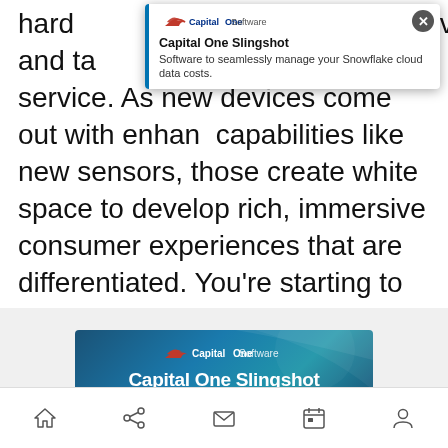hard... ...service and ta... ...e service. As new devices come out with enhanced capabilities like new sensors, those create white space to develop rich, immersive consumer experiences that are differentiated. You're starting to see more companies playing on both sides of that equation as an opportunity to differentiate themselves in the market.
[Figure (other): Capital One Software - Capital One Slingshot popup advertisement overlay with logo, title, and description: 'Software to seamlessly manage your Snowflake cloud data costs.' with close button.]
ADVERTISEMENT
[Figure (other): Capital One Software banner advertisement showing Capital One Slingshot logo and title on dark blue gradient background with teal underline.]